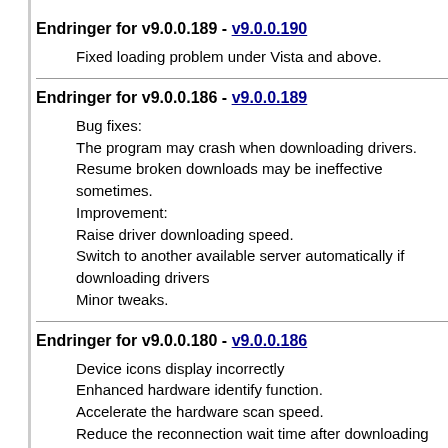Endringer for v9.0.0.189 - v9.0.0.190
Fixed loading problem under Vista and above.
Endringer for v9.0.0.186 - v9.0.0.189
Bug fixes:
The program may crash when downloading drivers.
Resume broken downloads may be ineffective sometimes.
Improvement:
Raise driver downloading speed.
Switch to another available server automatically if downloading drivers
Minor tweaks.
Endringer for v9.0.0.180 - v9.0.0.186
Device icons display incorrectly
Enhanced hardware identify function.
Accelerate the hardware scan speed.
Reduce the reconnection wait time after downloading fail.
Fixed the program will break when scanning some storage devices.
Lost some drivers when backing up drivers.
The updated database can't be loaded immediately.